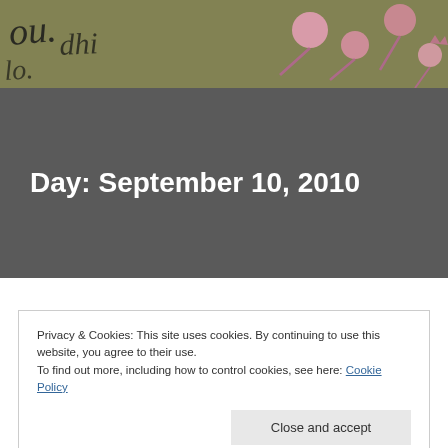[Figure (photo): Decorative header image showing handwritten script text on aged paper with pink botanical/floral decorative elements overlaid]
Day: September 10, 2010
Privacy & Cookies: This site uses cookies. By continuing to use this website, you agree to their use.
To find out more, including how to control cookies, see here: Cookie Policy
Close and accept